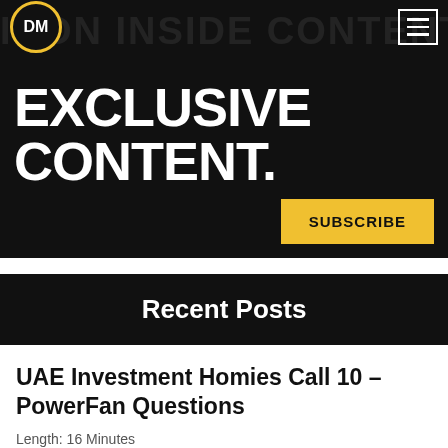[Figure (screenshot): Website hero banner with black background showing 'EXCLUSIVE CONTENT.' text in large bold white letters, a DM logo circle in gold/yellow at top left, a hamburger menu icon at top right, and a yellow SUBSCRIBE button at bottom right]
Recent Posts
UAE Investment Homies Call 10 – PowerFan Questions
Length: 16 Minutes
Read More »